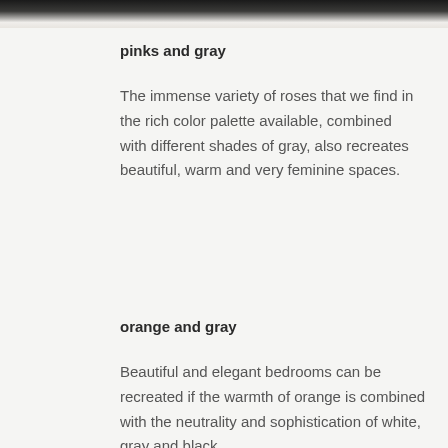[Figure (photo): Top strip of a photograph showing a dark/grayscale interior scene, partially cropped]
pinks and gray
The immense variety of roses that we find in the rich color palette available, combined with different shades of gray, also recreates beautiful, warm and very feminine spaces.
orange and gray
Beautiful and elegant bedrooms can be recreated if the warmth of orange is combined with the neutrality and sophistication of white, gray and black.